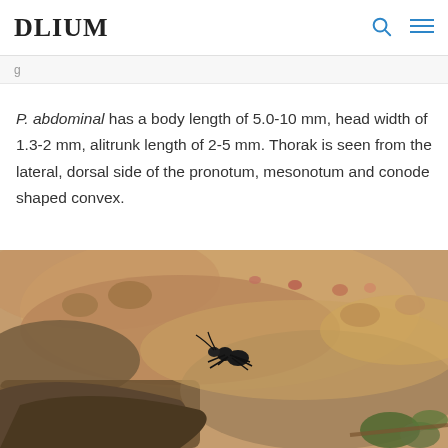DLIUM
P. abdominal has a body length of 5.0-10 mm, head width of 1.3-2 mm, alitrunk length of 2-5 mm. Thorak is seen from the lateral, dorsal side of the pronotum, mesonotum and conode shaped convex.
[Figure (photo): A large black ant on rocky sandy ground with stones and sparse vegetation in the background.]